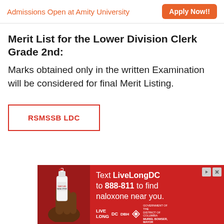Admissions Open at Amity University  Apply Now!!
Merit List for the Lower Division Clerk Grade 2nd:
Marks obtained only in the written Examination will be considered for final Merit Listing.
RSMSSB LDC
[Figure (other): Advertisement banner: Text LiveLongDC to 888-811 to find naloxone near you. Shows a hand holding a nasal spray device. LiveLong DC DBH DC Government branding.]